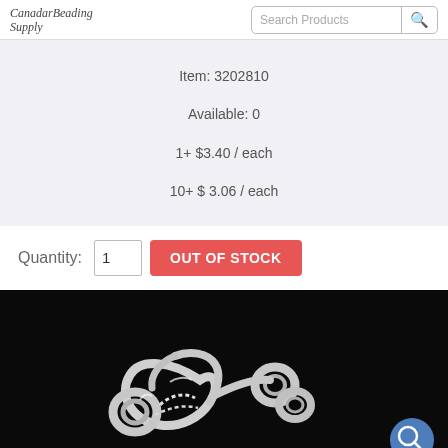Canada Beading Supply | Search Products
Item: 3202810
Available: 0
1+ $3.40 / each
10+ $ 3.06 / each
Quantity: 1  OUT OF STOCK
[Figure (photo): Silver hook and eye clasp jewelry finding on black background]
10X7CMm... Hook & Eye Cl...